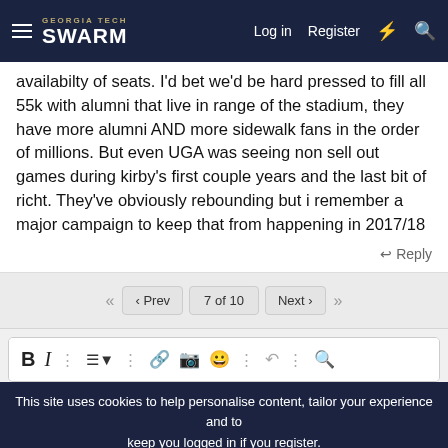Georgia Tech Swarm — Log in | Register
availabilty of seats. I'd bet we'd be hard pressed to fill all 55k with alumni that live in range of the stadium, they have more alumni AND more sidewalk fans in the order of millions. But even UGA was seeing non sell out games during kirby's first couple years and the last bit of richt. They've obviously rebounding but i remember a major campaign to keep that from happening in 2017/18
Reply
7 of 10  Prev  Next
[Figure (screenshot): Text editor toolbar with bold, italic, list, link, image, emoji, undo, and preview icons]
This site uses cookies to help personalise content, tailor your experience and to keep you logged in if you register. By continuing to use this site, you are consenting to our use of cookies.
Accept   Learn more...